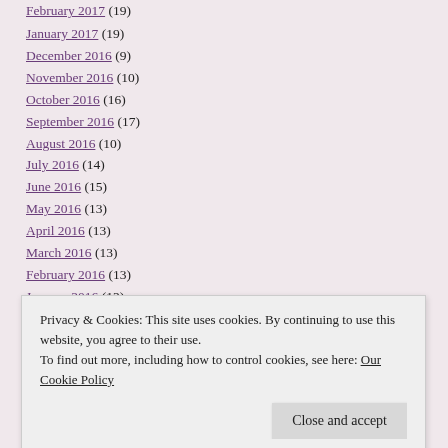February 2017 (19)
January 2017 (19)
December 2016 (9)
November 2016 (10)
October 2016 (16)
September 2016 (17)
August 2016 (10)
July 2016 (14)
June 2016 (15)
May 2016 (13)
April 2016 (13)
March 2016 (13)
February 2016 (13)
January 2016 (12)
Privacy & Cookies: This site uses cookies. By continuing to use this website, you agree to their use. To find out more, including how to control cookies, see here: Our Cookie Policy
August 2015 (5)